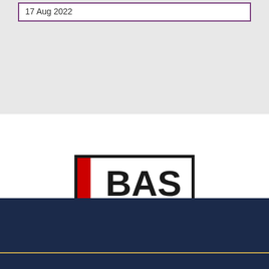17 Aug 2022
[Figure (logo): BAS logo — black rectangular border with a red vertical stripe on the left and bold black text 'BAS' on white background]
[Figure (logo): Ashworth Treasure Chartered Accountants logo — navy blue background with gold border, gold text 'ASHWORTH TREASURE' and 'CHARTERED ACCOUNTANTS' with lightning bolt graphic]